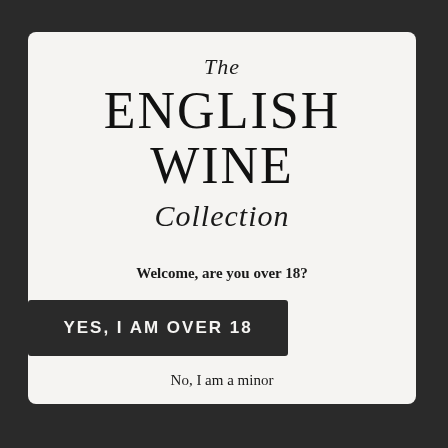The ENGLISH WINE Collection
Welcome, are you over 18?
YES, I AM OVER 18
No, I am a minor